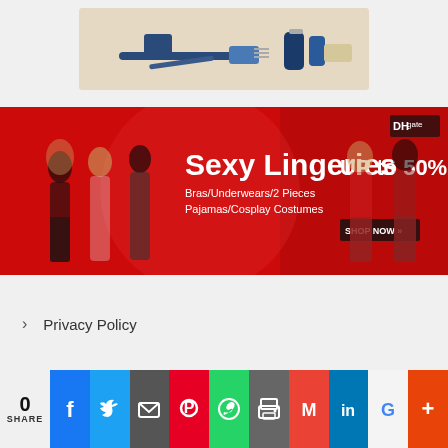[Figure (photo): Product photo showing shaving/grooming products including razors, blue containers, and a bar of soap on a light beige background]
[Figure (photo): Red advertisement banner for DHgate featuring women in lingerie. Text reads: Sexy Lingeries, UP to 50% off, Bras/Underwears/2 Pieces, Pajamas/Cosplay Costumes, SHOP NOW button. DHgate logo in top right.]
› Privacy Policy
[Figure (infographic): Social media share bar showing: 0 SHARE count, Facebook, Twitter, Email, Pinterest, WhatsApp, Print, Gmail, LinkedIn, Google, More buttons]